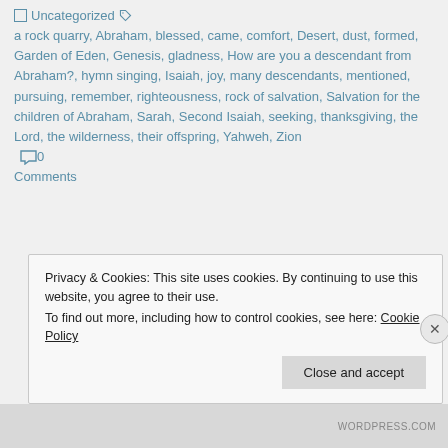Uncategorized  a rock quarry, Abraham, blessed, came, comfort, Desert, dust, formed, Garden of Eden, Genesis, gladness, How are you a descendant from Abraham?, hymn singing, Isaiah, joy, many descendants, mentioned, pursuing, remember, righteousness, rock of salvation, Salvation for the children of Abraham, Sarah, Second Isaiah, seeking, thanksgiving, the Lord, the wilderness, their offspring, Yahweh, Zion  0 Comments
Privacy & Cookies: This site uses cookies. By continuing to use this website, you agree to their use. To find out more, including how to control cookies, see here: Cookie Policy
Close and accept